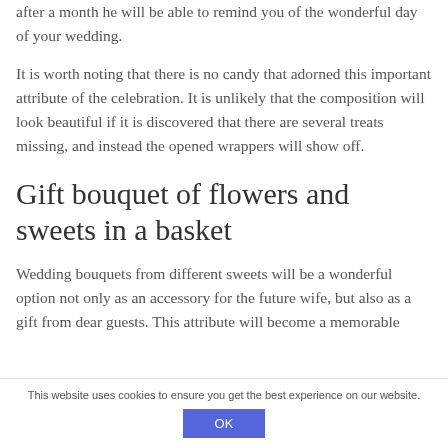after a month he will be able to remind you of the wonderful day of your wedding.
It is worth noting that there is no candy that adorned this important attribute of the celebration. It is unlikely that the composition will look beautiful if it is discovered that there are several treats missing, and instead the opened wrappers will show off.
Gift bouquet of flowers and sweets in a basket
Wedding bouquets from different sweets will be a wonderful option not only as an accessory for the future wife, but also as a gift from dear guests. This attribute will become a memorable
This website uses cookies to ensure you get the best experience on our website.
OK